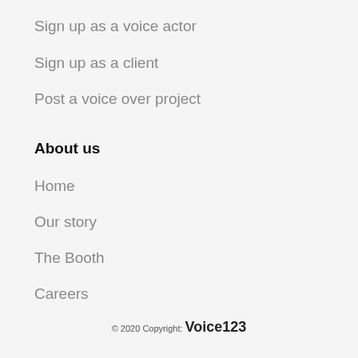Sign up as a voice actor
Sign up as a client
Post a voice over project
About us
Home
Our story
The Booth
Careers
© 2020 Copyright: Voice123